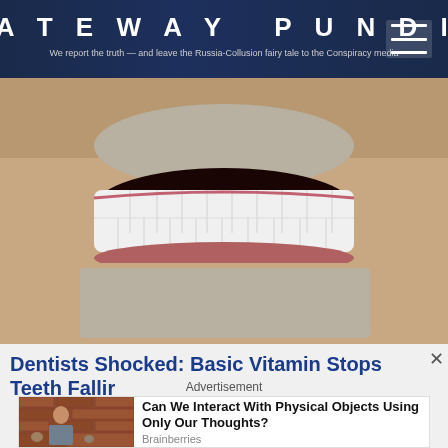GATEWAY PUNDIT — We report the truth — and leave the Russia-Collusion fairy tale to the Conspiracy media
[Figure (photo): Close-up photo of a man's smiling mouth showing very white teeth, with a grey mustache and beard stubble above the lip]
Dentists Shocked: Basic Vitamin Stops Teeth Fallir
Advertisement
[Figure (photo): Advertisement card showing a woman in a brick-walled room with people around, alongside text 'Can We Interact With Physical Objects Using Only Our Thoughts?' sourced from Brainberries]